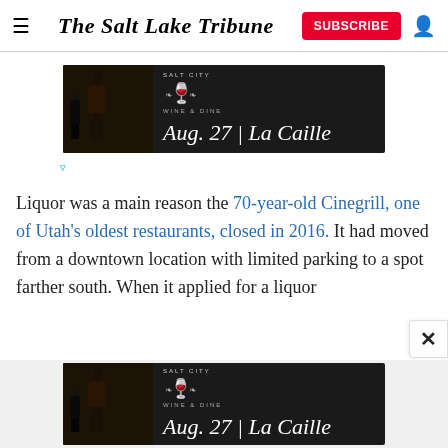The Salt Lake Tribune
[Figure (screenshot): Salt City Wine & Dine advertisement banner: dark background with wine glass logo, text 'Aug. 27 | La Caille']
Liquor was a main reason the 70-year-old Cinegrill, one of Utah's oldest restaurants, closed in 2016. It had moved from a downtown location with limited parking to a spot farther south. When it applied for a liquor
[Figure (screenshot): Salt City Wine & Dine advertisement banner (bottom): dark background with wine glass logo, text 'Aug. 27 | La Caille']